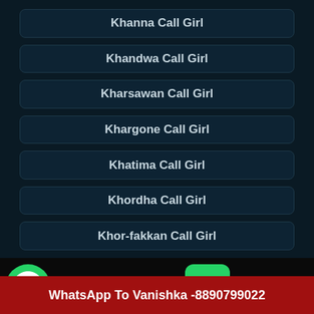Khanna Call Girl
Khandwa Call Girl
Kharsawan Call Girl
Khargone Call Girl
Khatima Call Girl
Khordha Call Girl
Khor-fakkan Call Girl
Whatsapp click to chat
Call us Now.
Call Vanishka Now - 8890799022
WhatsApp To Vanishka -8890799022